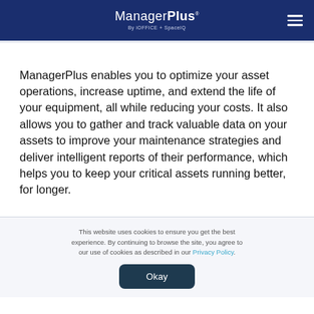ManagerPlus By iOFFICE + SpaceIQ
ManagerPlus enables you to optimize your asset operations, increase uptime, and extend the life of your equipment, all while reducing your costs. It also allows you to gather and track valuable data on your assets to improve your maintenance strategies and deliver intelligent reports of their performance, which helps you to keep your critical assets running better, for longer.
This website uses cookies to ensure you get the best experience. By continuing to browse the site, you agree to our use of cookies as described in our Privacy Policy.
Okay